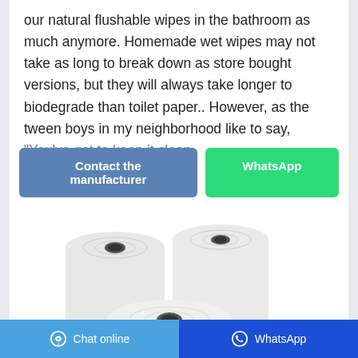our natural flushable wipes in the bathroom as much anymore. Homemade wet wipes may not take as long to break down as store bought versions, but they will always take longer to biodegrade than toilet paper.. However, as the tween boys in my neighborhood like to say, "You've got to keep it clean
[Figure (photo): Three rolls of paper towels/toilet paper arranged in a group against a white background]
Chat online   WhatsApp